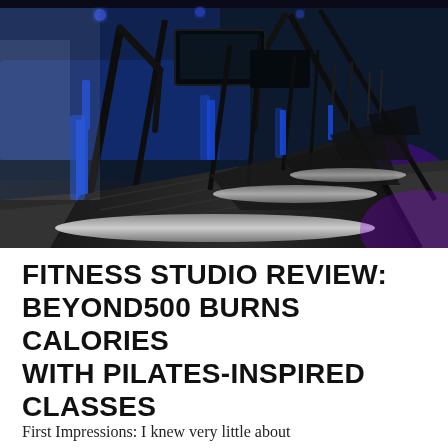[Figure (photo): A row of treadmills in a dark gym with blue accent lighting. The treadmills are black with blue frames, lined up in a row receding into the background. The gym has a dark atmosphere illuminated by blue and purple lighting.]
FITNESS STUDIO REVIEW: BEYOND500 BURNS CALORIES WITH PILATES-INSPIRED CLASSES
First Impressions: I knew very little about